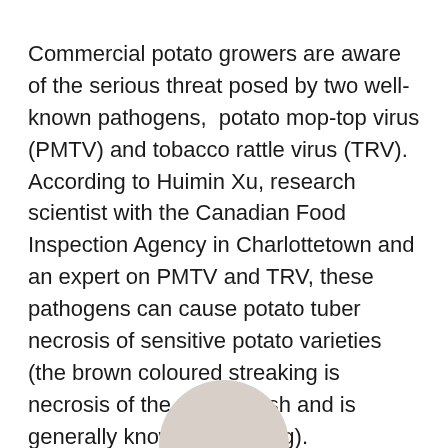Commercial potato growers are aware of the serious threat posed by two well- known pathogens,  potato mop-top virus (PMTV) and tobacco rattle virus (TRV). According to Huimin Xu, research scientist with the Canadian Food Inspection Agency in Charlottetown and an expert on PMTV and TRV, these pathogens can cause potato tuber necrosis of sensitive potato varieties (the brown coloured streaking is necrosis of the potato flesh and is generally known as spraing).
[Figure (photo): Partially visible circular/oval photo at the bottom center of the page, showing what appears to be a potato or related subject, cropped at the page edge.]